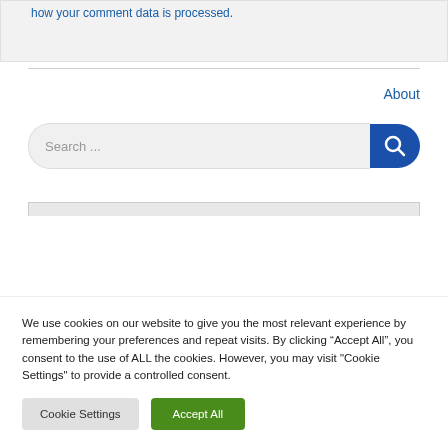how your comment data is processed.
About
Search ...
We use cookies on our website to give you the most relevant experience by remembering your preferences and repeat visits. By clicking “Accept All”, you consent to the use of ALL the cookies. However, you may visit "Cookie Settings" to provide a controlled consent.
Cookie Settings
Accept All